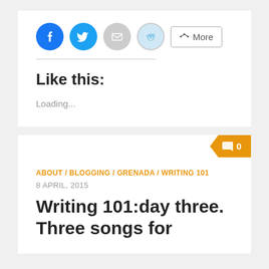[Figure (other): Social share buttons: Facebook (blue circle), Twitter (blue circle), Email (grey circle), Reddit (light blue circle), and a More button with share icon]
Like this:
Loading...
[Figure (other): Comment badge showing 0 comments in orange]
ABOUT / BLOGGING / GRENADA / WRITING 101
8 APRIL, 2015
Writing 101:day three. Three songs for